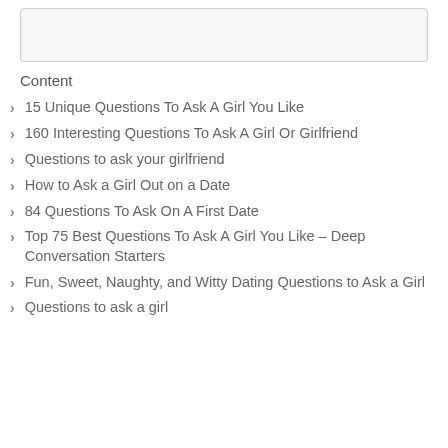[Figure (other): Empty rounded rectangle box at top of page]
Content
15 Unique Questions To Ask A Girl You Like
160 Interesting Questions To Ask A Girl Or Girlfriend
Questions to ask your girlfriend
How to Ask a Girl Out on a Date
84 Questions To Ask On A First Date
Top 75 Best Questions To Ask A Girl You Like – Deep Conversation Starters
Fun, Sweet, Naughty, and Witty Dating Questions to Ask a Girl
Questions to ask a girl